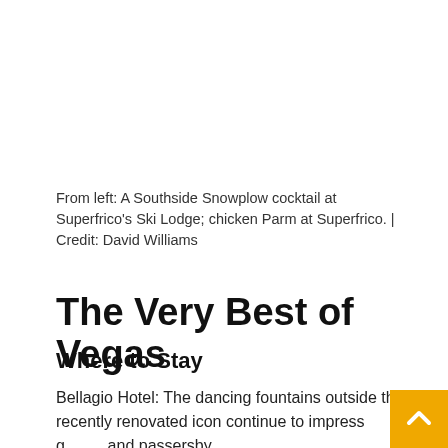From left: A Southside Snowplow cocktail at Superfrico's Ski Lodge; chicken Parm at Superfrico. | Credit: David Williams
The Very Best of Vegas
Where to Stay
Bellagio Hotel: The dancing fountains outside this recently renovated icon continue to impress guests and passersby.